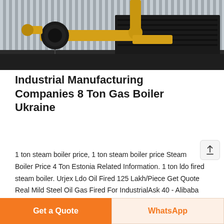[Figure (photo): Industrial boiler equipment photo showing yellow pipes and a large gas boiler unit against a corrugated metal wall]
Industrial Manufacturing Companies 8 Ton Gas Boiler Ukraine
1 ton steam boiler price, 1 ton steam boiler price Steam Boiler Price 4 Ton Estonia Related Information. 1 ton ldo fired steam boiler. Urjex Ldo Oil Fired 125 Lakh/Piece Get Quote Real Mild Steel Oil Gas Fired For IndustrialAsk 40 - Alibaba 1623 products 1000 kg 1 Natural Horizontal Gas Fired for industry